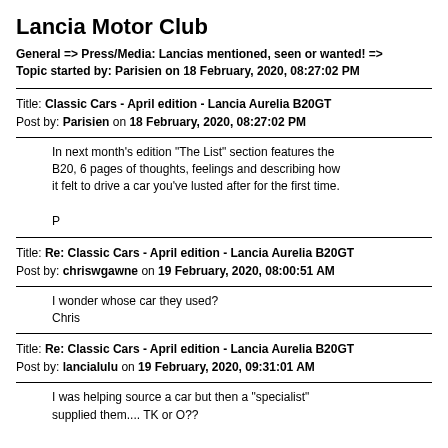Lancia Motor Club
General => Press/Media: Lancias mentioned, seen or wanted! => Topic started by: Parisien on 18 February, 2020, 08:27:02 PM
Title: Classic Cars - April edition - Lancia Aurelia B20GT
Post by: Parisien on 18 February, 2020, 08:27:02 PM
In next month's edition "The List" section features the B20, 6 pages of thoughts, feelings and describing how it felt to drive a car you've lusted after for the first time.

P
Title: Re: Classic Cars - April edition - Lancia Aurelia B20GT
Post by: chriswgawne on 19 February, 2020, 08:00:51 AM
I wonder whose car they used?
Chris
Title: Re: Classic Cars - April edition - Lancia Aurelia B20GT
Post by: lancialulu on 19 February, 2020, 09:31:01 AM
I was helping source a car but then a "specialist" supplied them.... TK or O??